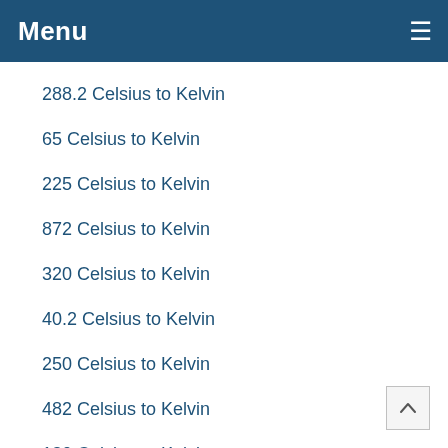Menu
288.2 Celsius to Kelvin
65 Celsius to Kelvin
225 Celsius to Kelvin
872 Celsius to Kelvin
320 Celsius to Kelvin
40.2 Celsius to Kelvin
250 Celsius to Kelvin
482 Celsius to Kelvin
130 Celsius to Kelvin